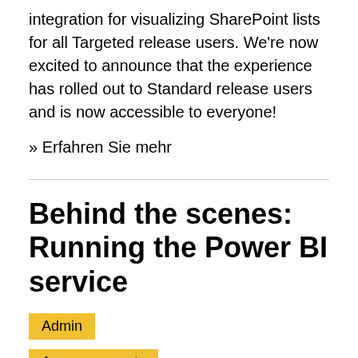integration for visualizing SharePoint lists for all Targeted release users. We're now excited to announce that the experience has rolled out to Standard release users and is now accessible to everyone!
» Erfahren Sie mehr
Behind the scenes: Running the Power BI service
Admin
Announcements
Power BI
Service